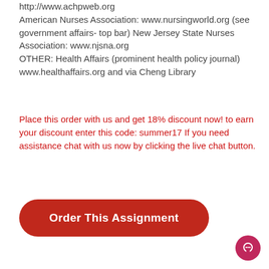http://www.achpweb.org American Nurses Association: www.nursingworld.org (see government affairs- top bar) New Jersey State Nurses Association: www.njsna.org OTHER: Health Affairs (prominent health policy journal) www.healthaffairs.org and via Cheng Library
Place this order with us and get 18% discount now! to earn your discount enter this code: summer17 If you need assistance chat with us now by clicking the live chat button.
[Figure (other): Red rounded rectangle button labeled 'Order This Assignment']
[Figure (other): Pink circular chat icon in bottom right corner]